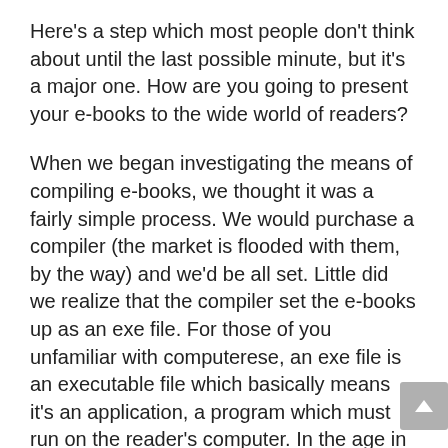Here's a step which most people don't think about until the last possible minute, but it's a major one. How are you going to present your e-books to the wide world of readers?
When we began investigating the means of compiling e-books, we thought it was a fairly simple process. We would purchase a compiler (the market is flooded with them, by the way) and we'd be all set. Little did we realize that the compiler set the e-books up as an exe file. For those of you unfamiliar with computerese, an exe file is an executable file which basically means it's an application, a program which must run on the reader's computer. In the age in which we live with the influx of computer viruses, not many readers are going to be eager to open the hard drive up for a potential Trojan, worm or